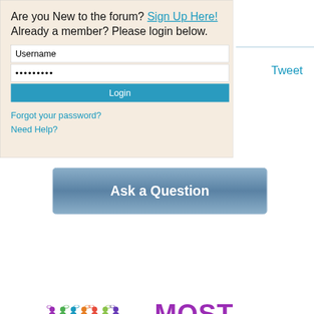Are you New to the forum? Sign Up Here!    Already a member? Please login below.
[Figure (screenshot): Login form with Username input, password input (dots), and Login button]
Forgot your password?
Need Help?
Tweet
[Figure (screenshot): Ask a Question button - blue rounded rectangle with white bold text]
[Figure (infographic): Colorful group of people icons with speech bubbles, followed by the word MOST in large purple bold text]